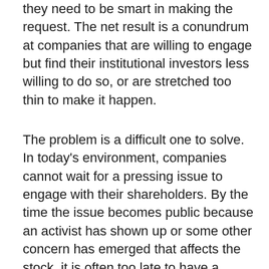they need to be smart in making the request. The net result is a conundrum at companies that are willing to engage but find their institutional investors less willing to do so, or are stretched too thin to make it happen.
The problem is a difficult one to solve. In today's environment, companies cannot wait for a pressing issue to engage with their shareholders. By the time the issue becomes public because an activist has shown up or some other concern has emerged that affects the stock, it is often too late to have a productive conversation. Investors in those situations must decide what they know or can learn in a condensed period; they have little ability to become invested in the long-term thinking behind, for instance, a company's change to executive pay or corporate governance. At the same time, institutional investors, while very open to and, in many cases, strong